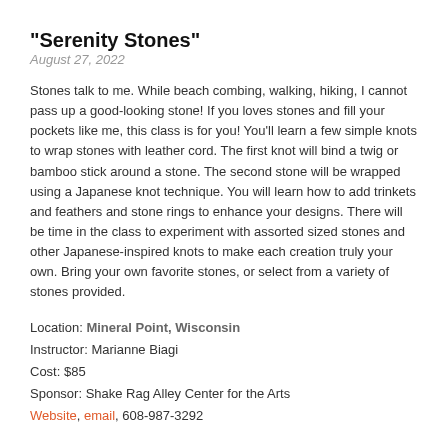"Serenity Stones"
August 27, 2022
Stones talk to me. While beach combing, walking, hiking, I cannot pass up a good-looking stone! If you loves stones and fill your pockets like me, this class is for you! You'll learn a few simple knots to wrap stones with leather cord. The first knot will bind a twig or bamboo stick around a stone. The second stone will be wrapped using a Japanese knot technique. You will learn how to add trinkets and feathers and stone rings to enhance your designs. There will be time in the class to experiment with assorted sized stones and other Japanese-inspired knots to make each creation truly your own. Bring your own favorite stones, or select from a variety of stones provided.
Location: Mineral Point, Wisconsin
Instructor: Marianne Biagi
Cost: $85
Sponsor: Shake Rag Alley Center for the Arts
Website, email, 608-987-3292